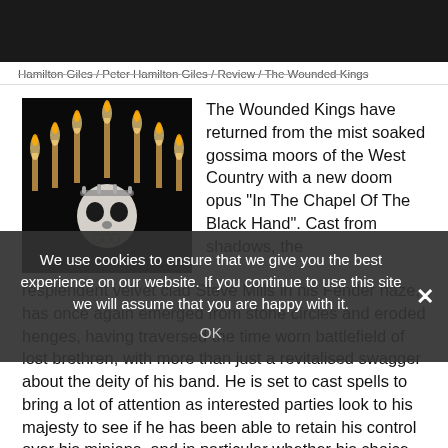Navigation bar with home, menu, and search icons
Hamilton Giles / Peter Hamilton Giles / Review / The Wounded Kings
[Figure (photo): Album art showing a decorated skull in the center with seven candles arranged in an arc above it against a dark background]
The Wounded Kings have returned from the mist soaked gossima moors of the West Country with a new doom opus “In The Chapel Of The Black Hand”. Cast from shadows, the resplendent velvet clad Steve Mills in his Fender haze, has once again emerged from stone circles and eroded henges, having traversed the time worn battlefield of lost brethren, with more than just a revitalised swagger about the deity of his band. He is set to cast spells to bring a lot of attention as interested parties look to his majesty to see if he has been able to retain his control over his minions, and in particular whether his choice in
We use cookies to ensure that we give you the best experience on our website. If you continue to use this site we will assume that you are happy with it.